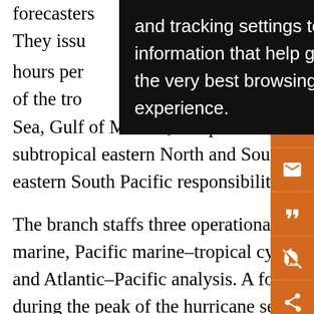forecasters … patterns. They issue … 24 hours per … ² and … of the tropical … Caribbean Sea, Gulf of Mexico, and parts of the tropical and subtropical eastern North and South Pacific (Fig. 1). The eastern South Pacific responsibility was added in 1991.

The branch staffs three operational desks: Atlantic marine, Pacific marine–tropical cyclone classifications, and Atlantic–Pacific analysis. A fourth desk is staffed during the peak of the hurricane season in the daytime to meet an increased workload. TAFB's customers include operators of commercial fishing vessels, yachts, cruise ships, and vessels making transoceanic voyages as well as the meteorological services of coastal nations. TAFB
[Figure (screenshot): Dark tooltip/cookie consent overlay with white text: 'and tracking settings to store information that help give you the very best browsing experience.']